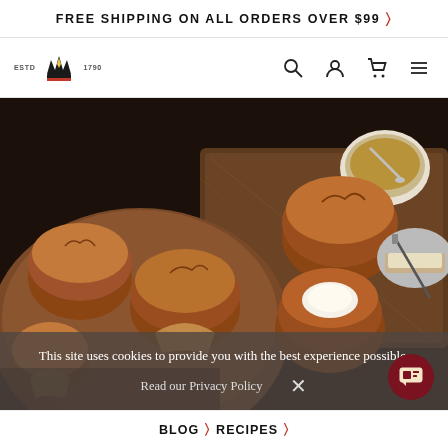FREE SHIPPING ON ALL ORDERS OVER $99 >
[Figure (logo): Crown logo with ESTD and 1790 text on either side]
[Figure (photo): Overhead food photography showing muffins in a bowl and on a wooden cutting board with coffee and butter, dark moody background]
This site uses cookies to provide you with the best experience possible.
Read our Privacy Policy  X
BLOG > RECIPES >